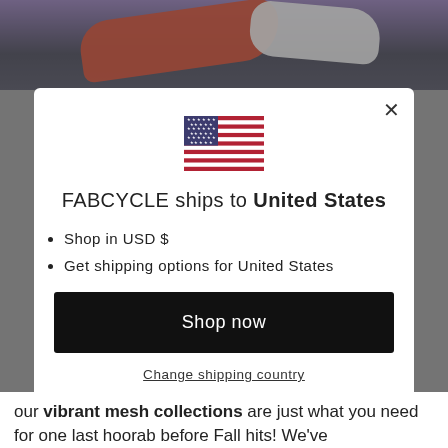[Figure (photo): Top portion of a webpage showing colorful fabric (red and white) on a dark background, partially visible behind a modal dialog overlay.]
FABCYCLE ships to United States
Shop in USD $
Get shipping options for United States
Shop now
Change shipping country
our vibrant mesh collections are just what you need for one last hoorab before Fall hits! We've